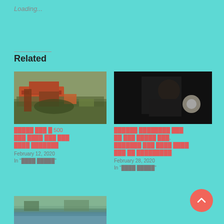Loading...
Related
[Figure (photo): Debris and wreckage scene, outdoor daytime photo showing red and other colored materials among vegetation]
█████ ███ █ 500 ███ ████ ███ ███ ████ ███████
February 12, 2020
In "████ █████"
[Figure (photo): Dark nighttime photo showing a person with a light source or camera flash]
██████ ████████ ███ ██ ███ █████ ███, ███████ ███ ████ ████ ███ ██ █████████
February 28, 2020
In "████ █████"
[Figure (photo): Landscape photo showing a waterway or river with green vegetation along the bank]